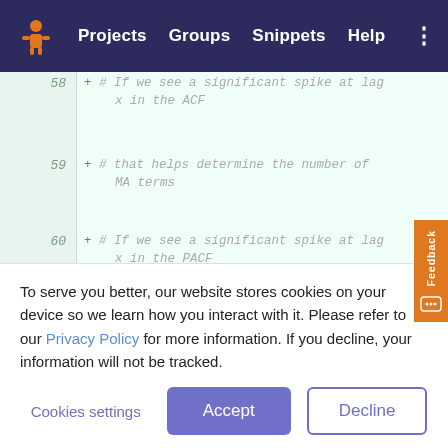Projects  Groups  Snippets  Help
[Figure (screenshot): GitLab code diff viewer showing lines 58-65 of a Python file with comments about ACF/PACF spike interpretation and calls to plot_acf, pyplot.show(), and plot_pacf]
To serve you better, our website stores cookies on your device so we learn how you interact with it. Please refer to our Privacy Policy for more information. If you decline, your information will not be tracked.
Cookies settings   Accept   Decline